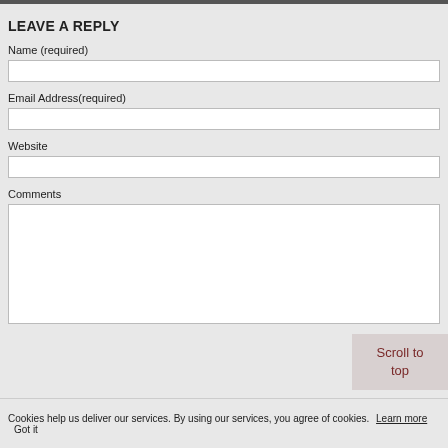LEAVE A REPLY
Name (required)
Email Address(required)
Website
Comments
Scroll to top
Cookies help us deliver our services. By using our services, you agree of cookies. Learn more   Got it
Submit Comment